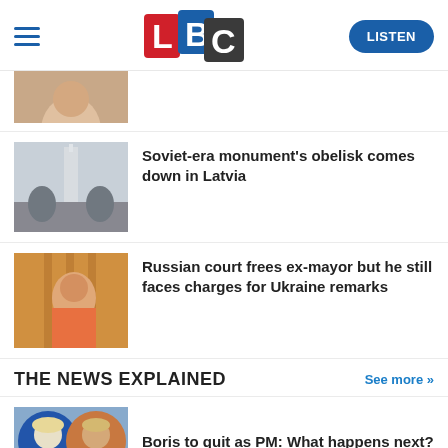[Figure (logo): LBC logo with L in red, B in blue, C in black/grey, hamburger menu icon on left, LISTEN button on right]
[Figure (photo): Partial photo of a person, cropped at top]
[Figure (photo): Soviet-era monument obelisk against sky with statues at base]
Soviet-era monument's obelisk comes down in Latvia
[Figure (photo): Man in orange shirt behind bars/cage in Russian court]
Russian court frees ex-mayor but he still faces charges for Ukraine remarks
THE NEWS EXPLAINED
See more >>
[Figure (photo): Boris Johnson photo, circular crop, blonde hair visible]
Boris to quit as PM: What happens next?